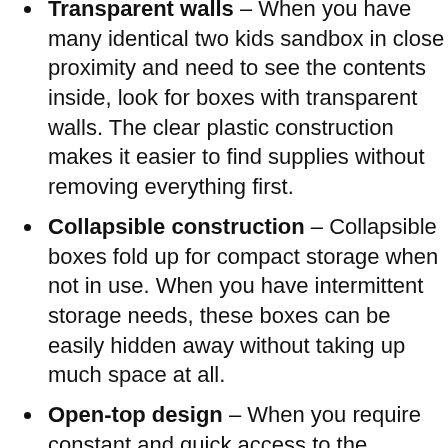Transparent walls – When you have many identical two kids sandbox in close proximity and need to see the contents inside, look for boxes with transparent walls. The clear plastic construction makes it easier to find supplies without removing everything first.
Collapsible construction – Collapsible boxes fold up for compact storage when not in use. When you have intermittent storage needs, these boxes can be easily hidden away without taking up much space at all.
Open-top design – When you require constant and quick access to the contents inside, look or open-top storage boxes. These boxes that are all…